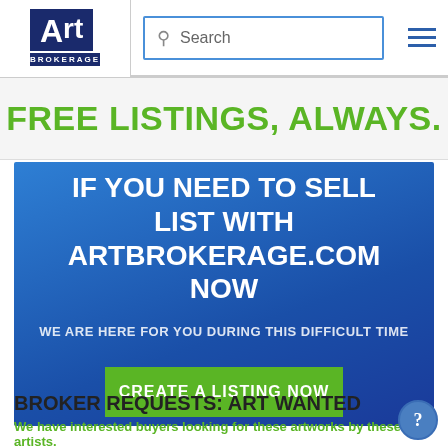Art Brokerage — Search bar navigation header
FREE LISTINGS, ALWAYS.
[Figure (infographic): Blue gradient promotional banner: 'IF YOU NEED TO SELL LIST WITH ARTBROKERAGE.COM NOW' with subtext 'WE ARE HERE FOR YOU DURING THIS DIFFICULT TIME' and a green CTA button 'CREATE A LISTING NOW']
BROKER REQUESTS: ART WANTED
We have interested buyers looking for these artworks by these artists.